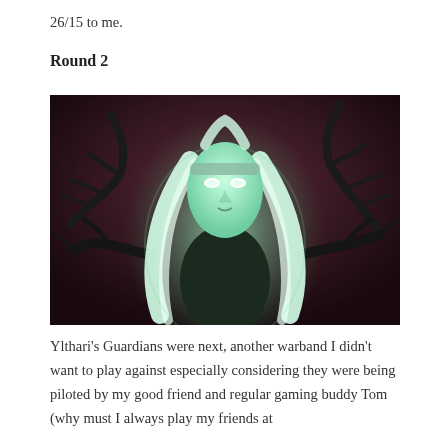26/15 to me.
Round 2
[Figure (illustration): Fantasy illustration of a pale female figure with long white hair, glowing white eyes, wearing a headband, surrounded by dark twisted branch-like appendages against a dark reddish-brown background. The figure has a green-tinted ethereal glow.]
Ylthari's Guardians were next, another warband I didn't want to play against especially considering they were being piloted by my good friend and regular gaming buddy Tom (why must I always play my friends at